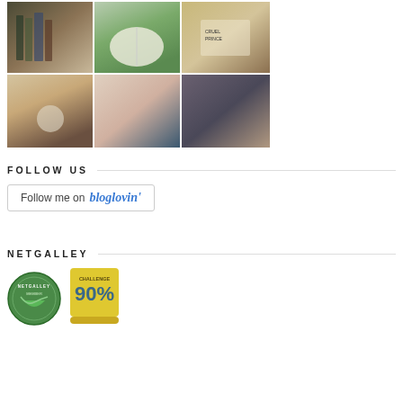[Figure (photo): 3x2 grid of six Instagram-style book photography images showing stacked books, book on porch rail with green field, Cruel Prince book on wooden deck, flat lay with book and coffee mug, flat lay with flowers and blue book, flat lay with dark patterned fabric and accessories]
FOLLOW US
[Figure (logo): Follow me on Bloglovin' button with border]
NETGALLEY
[Figure (logo): NetGalley Member badge (green circular) and 90% challenge badge (yellow/gold)]